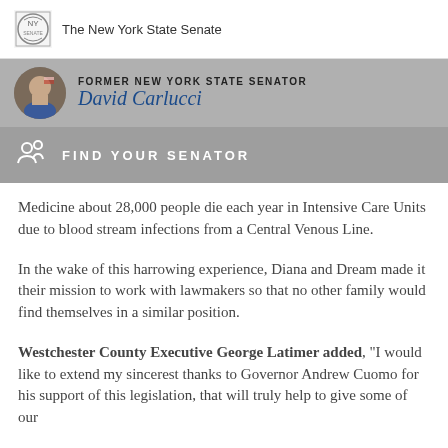The New York State Senate
FORMER NEW YORK STATE SENATOR
David Carlucci
FIND YOUR SENATOR
Medicine about 28,000 people die each year in Intensive Care Units due to blood stream infections from a Central Venous Line.
In the wake of this harrowing experience, Diana and Dream made it their mission to work with lawmakers so that no other family would find themselves in a similar position.
Westchester County Executive George Latimer added, “I would like to extend my sincerest thanks to Governor Andrew Cuomo for his support of this legislation, that will truly help to give some of our